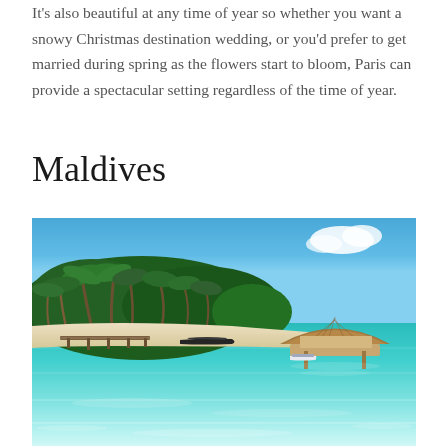It's also beautiful at any time of year so whether you want a snowy Christmas destination wedding, or you'd prefer to get married during spring as the flowers start to bloom, Paris can provide a spectacular setting regardless of the time of year.
Maldives
[Figure (photo): Tropical Maldives scene with turquoise clear water in the foreground, white sandy beach, lush palm trees and green vegetation on an island to the left, a wooden dock extending into the water, a dark boat near the center, and an overwater bungalow with a thatched roof on the right. Blue sky with a white cloud in the upper right.]